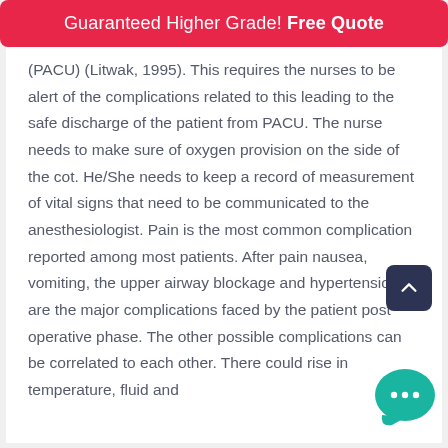Guaranteed Higher Grade! Free Quote
(PACU) (Litwak, 1995). This requires the nurses to be alert of the complications related to this leading to the safe discharge of the patient from PACU. The nurse needs to make sure of oxygen provision on the side of the cot. He/She needs to keep a record of measurement of vital signs that need to be communicated to the anesthesiologist. Pain is the most common complication reported among most patients. After pain nausea, vomiting, the upper airway blockage and hypertension are the major complications faced by the patient post operative phase. The other possible complications can be correlated to each other. There could rise in temperature, fluid and